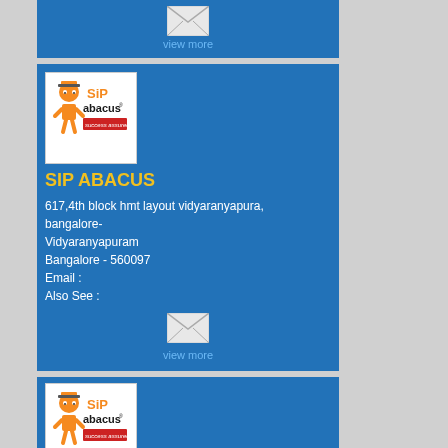[Figure (other): Envelope icon with view more link in blue card (top partial card)]
view more
[Figure (logo): SIP Abacus logo with orange cartoon character, abacus text, and success assured tagline on red background]
SIP ABACUS
617,4th block hmt layout vidyaranyapura, bangalore- Vidyaranyapuram Bangalore - 560097 Email : Also See :
[Figure (other): Envelope icon with view more link in blue card (middle card)]
view more
[Figure (logo): SIP Abacus logo (partial, bottom card)]